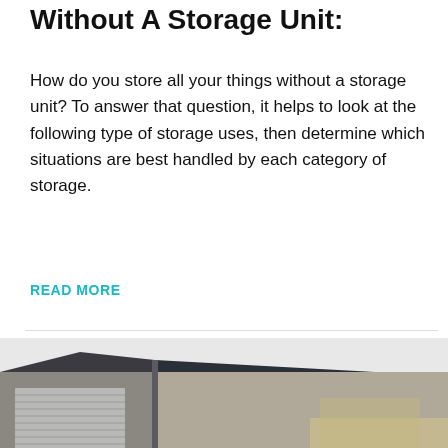Without A Storage Unit:
How do you store all your things without a storage unit? To answer that question, it helps to look at the following type of storage uses, then determine which situations are best handled by each category of storage.
READ MORE
[Figure (photo): Exterior corner of a storage unit facility building with metal roof and roll-up doors, viewed from below against a white sky.]